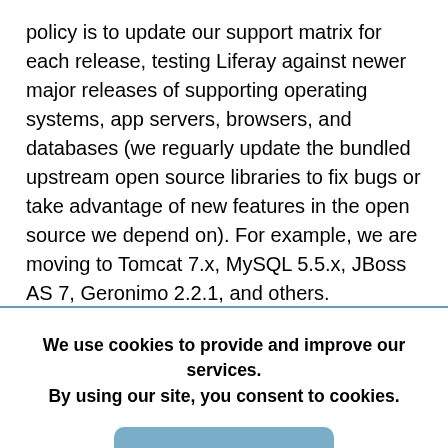policy is to update our support matrix for each release, testing Liferay against newer major releases of supporting operating systems, app servers, browsers, and databases (we reguarly update the bundled upstream open source libraries to fix bugs or take advantage of new features in the open source we depend on). For example, we are moving to Tomcat 7.x, MySQL 5.5.x, JBoss AS 7, Geronimo 2.2.1, and others.
We use cookies to provide and improve our services. By using our site, you consent to cookies.
Accept
Learn more